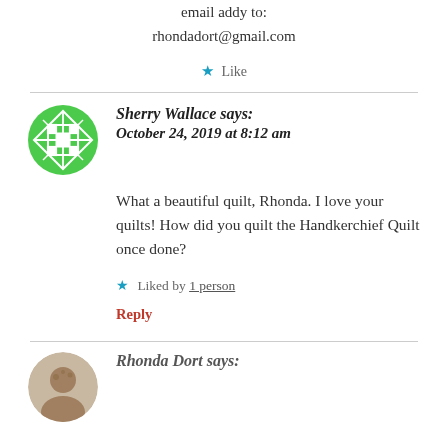email addy to:
rhondadort@gmail.com
Like
Sherry Wallace says:
October 24, 2019 at 8:12 am
What a beautiful quilt, Rhonda. I love your quilts! How did you quilt the Handkerchief Quilt once done?
Liked by 1 person
Reply
Rhonda Dort says: